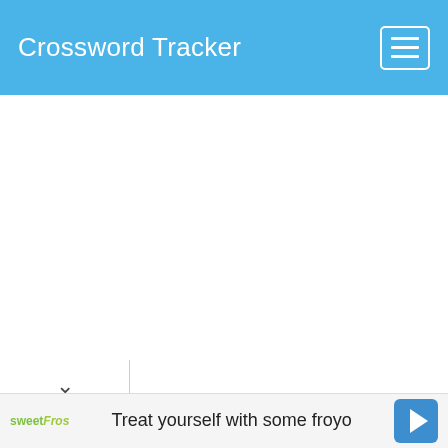Crossword Tracker
[Figure (screenshot): White empty content area below navigation bar]
[Figure (infographic): Dropdown chevron tab at bottom left of content area]
[Figure (infographic): Advertisement banner: sweetFrog logo and text 'Treat yourself with some froyo' with navigation arrow icon]